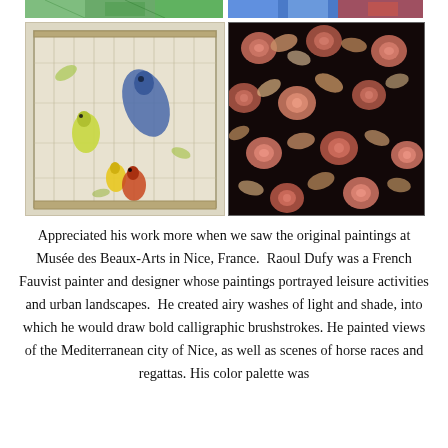[Figure (photo): Top strip showing two partial artwork images side by side: left shows green/nature tones, right shows blue and red tones]
[Figure (photo): Painting of birds in a cage/aviary with light pencil-like strokes, yellow and blue birds visible]
[Figure (photo): Dark floral pattern with roses and leaves in orange, pink, and brown tones on black background]
Appreciated his work more when we saw the original paintings at Musée des Beaux-Arts in Nice, France.  Raoul Dufy was a French Fauvist painter and designer whose paintings portrayed leisure activities and urban landscapes.  He created airy washes of light and shade, into which he would draw bold calligraphic brushstrokes. He painted views of the Mediterranean city of Nice, as well as scenes of horse races and regattas. His color palette was influenced by Claude Monet and his i...